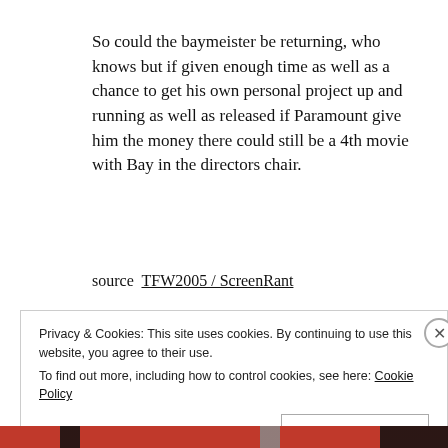So could the baymeister be returning, who knows but if given enough time as well as a chance to get his own personal project up and running as well as released if Paramount give him the money there could still be a 4th movie with Bay in the directors chair.
source  TFW2005 / ScreenRant
Privacy & Cookies: This site uses cookies. By continuing to use this website, you agree to their use.
To find out more, including how to control cookies, see here: Cookie Policy